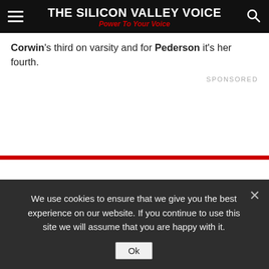THE SILICON VALLEY VOICE — Power To Your Voice
Corwin's third on varsity and for Pederson it's her fourth.
SPONSORED
We use cookies to ensure that we give you the best experience on our website. If you continue to use this site we will assume that you are happy with it.